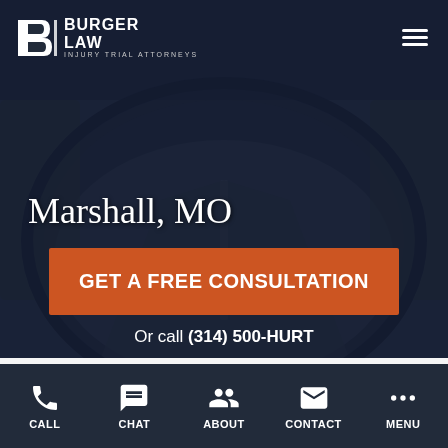[Figure (screenshot): Hero background image showing a road viewed through a car's side mirror, dark overlay applied]
BURGER LAW | INJURY TRIAL ATTORNEYS
Marshall, MO
GET A FREE CONSULTATION
Or call (314) 500-HURT
CALL | CHAT | ABOUT | CONTACT | MENU